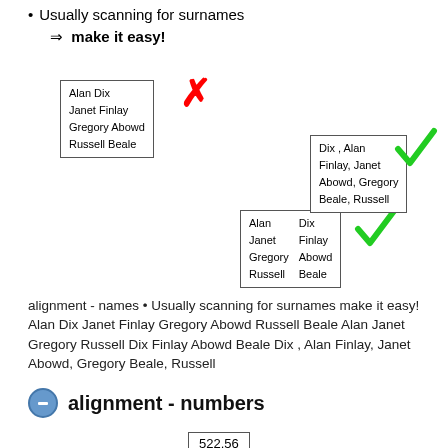Usually scanning for surnames ⇒ make it easy!
[Figure (illustration): Three boxes showing name alignment examples. Left box (bad, red X): names listed as 'Alan Dix / Janet Finlay / Gregory Abowd / Russell Beale'. Middle box (green check): two-column layout with first names left and surnames right. Right box (green check): surname-first format 'Dix, Alan / Finlay, Janet / Abowd, Gregory / Beale, Russell'.]
alignment - names • Usually scanning for surnames make it easy! Alan Dix Janet Finlay Gregory Abowd Russell Beale Alan Janet Gregory Russell Dix Finlay Abowd Beale Dix , Alan Finlay, Janet Abowd, Gregory Beale, Russell
alignment - numbers